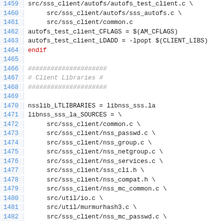1459  src/sss_client/autofs/autofs_test_client.c \
1460       src/sss_client/autofs/sss_autofs.c \
1461       src/sss_client/common.c
1462  autofs_test_client_CFLAGS = $(AM_CFLAGS)
1463  autofs_test_client_LDADD = -lpopt $(CLIENT_LIBS)
1464  endif
1465
1466  #####################
1467  # Client Libraries #
1468  #####################
1469
1470  nsslib_LTLIBRARIES = libnss_sss.la
1471  libnss_sss_la_SOURCES = \
1472       src/sss_client/common.c \
1473       src/sss_client/nss_passwd.c \
1474       src/sss_client/nss_group.c \
1475       src/sss_client/nss_netgroup.c \
1476       src/sss_client/nss_services.c \
1477       src/sss_client/sss_cli.h \
1478       src/sss_client/nss_compat.h \
1479       src/sss_client/nss_mc_common.c \
1480       src/util/io.c \
1481       src/util/murmurhash3.c \
1482       src/sss_client/nss_mc_passwd.c \